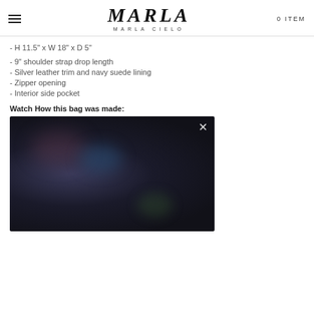MARLA / MARLA CIELO — 0 ITEM
- H 11.5" x W 18" x D 5"
- 9" shoulder strap drop length
- Silver leather trim and navy suede lining
- Zipper opening
- Interior side pocket
Watch How this bag was made:
[Figure (photo): Dark blurred video thumbnail with a close/X button in the top-right corner]